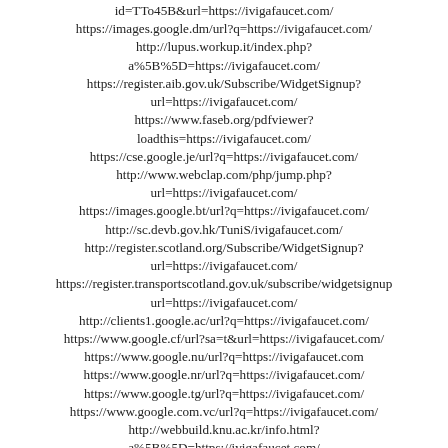id=TTo45B&url=https://ivigafaucet.com/
https://images.google.dm/url?q=https://ivigafaucet.com/
http://lupus.workup.it/index.php?a%5B%5D=https://ivigafaucet.com/
https://register.aib.gov.uk/Subscribe/WidgetSignup?url=https://ivigafaucet.com/
https://www.faseb.org/pdfviewer?loadthis=https://ivigafaucet.com/
https://cse.google.je/url?q=https://ivigafaucet.com/
http://www.webclap.com/php/jump.php?url=https://ivigafaucet.com/
https://images.google.bt/url?q=https://ivigafaucet.com/
http://sc.devb.gov.hk/TuniS/ivigafaucet.com/
http://register.scotland.org/Subscribe/WidgetSignup?url=https://ivigafaucet.com/
https://register.transportscotland.gov.uk/subscribe/widgetsignup?url=https://ivigafaucet.com/
http://clients1.google.ac/url?q=https://ivigafaucet.com/
https://www.google.cf/url?sa=t&url=https://ivigafaucet.com/
https://www.google.nu/url?q=https://ivigafaucet.com
https://www.google.nr/url?q=https://ivigafaucet.com/
https://www.google.tg/url?q=https://ivigafaucet.com/
https://www.google.com.vc/url?q=https://ivigafaucet.com/
http://webbuild.knu.ac.kr/info.html?a%5B%5D=https://ivigafaucet.com/
https://www.google.ga/url?q=https://ivigafaucet.com/